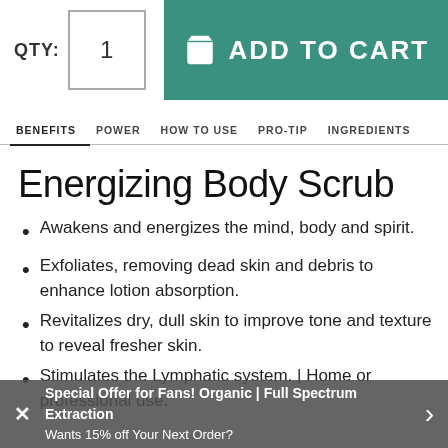[Figure (screenshot): QTY label with input box showing 1, and a teal ADD TO CART button with basket icon]
BENEFITS | POWER | HOW TO USE | PRO-TIP | INGREDIENTS
Energizing Body Scrub
Awakens and energizes the mind, body and spirit.
Exfoliates, removing dead skin and debris to enhance lotion absorption.
Revitalizes dry, dull skin to improve tone and texture to reveal fresher skin.
Stimulates the Lymphatic system. | Home or professional use.
Special Offer for Fans! Organic | Full Spectrum Extraction
Wants 15% off Your Next Order?